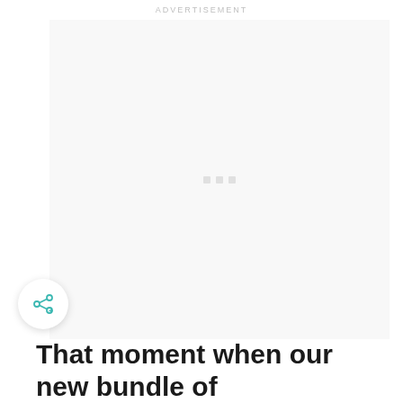ADVERTISEMENT
[Figure (other): Advertisement placeholder box with three small grey squares centered in a light grey area]
[Figure (other): Circular share button with a teal share/network icon (node connected by lines with plus symbol)]
That moment when our new bundle of